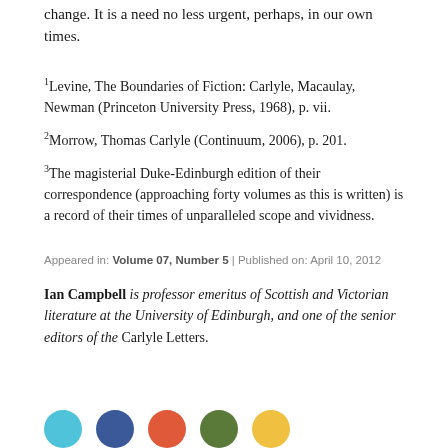change. It is a need no less urgent, perhaps, in our own times.
1Levine, The Boundaries of Fiction: Carlyle, Macaulay, Newman (Princeton University Press, 1968), p. vii.
2Morrow, Thomas Carlyle (Continuum, 2006), p. 201.
3The magisterial Duke-Edinburgh edition of their correspondence (approaching forty volumes as this is written) is a record of their times of unparalleled scope and vividness.
Appeared in: Volume 07, Number 5 | Published on: April 10, 2012
Ian Campbell is professor emeritus of Scottish and Victorian literature at the University of Edinburgh, and one of the senior editors of the Carlyle Letters.